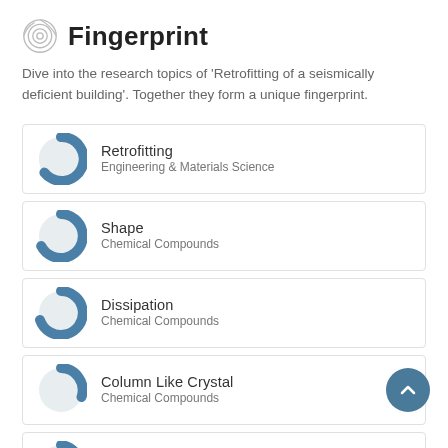Fingerprint
Dive into the research topics of 'Retrofitting of a seismically deficient building'. Together they form a unique fingerprint.
Retrofitting — Engineering & Materials Science
Shape — Chemical Compounds
Dissipation — Chemical Compounds
Column Like Crystal — Chemical Compounds
Energy — Chemical Compounds